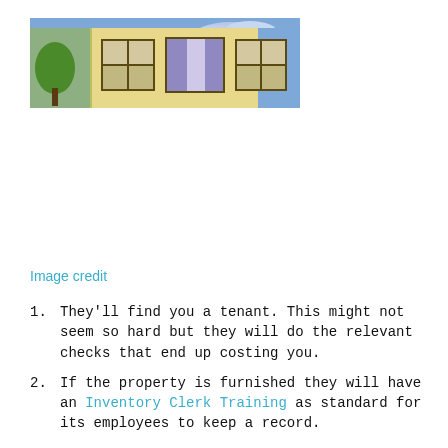[Figure (illustration): A cartoon illustration of a building facade with windows with curtains against a blue sky background, partially cropped.]
Image credit
They'll find you a tenant. This might not seem so hard but they will do the relevant checks that end up costing you.
If the property is furnished they will have an Inventory Clerk Training as standard for its employees to keep a record.